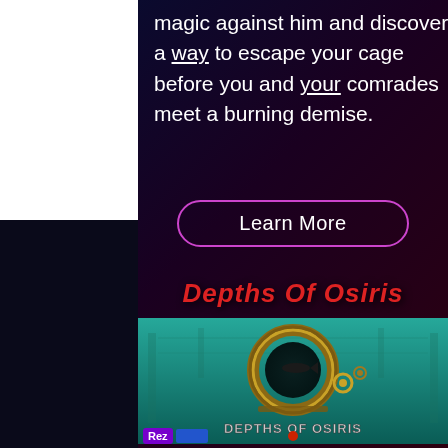magic against him and discover a way to escape your cage before you and your comrades meet a burning demise.
Learn More
Depths Of Osiris
[Figure (photo): Game logo image for Depths Of Osiris showing an underwater steampunk scene with a porthole containing a fish silhouette, mechanical gears, and stylized game title text on a teal underwater background.]
Rez